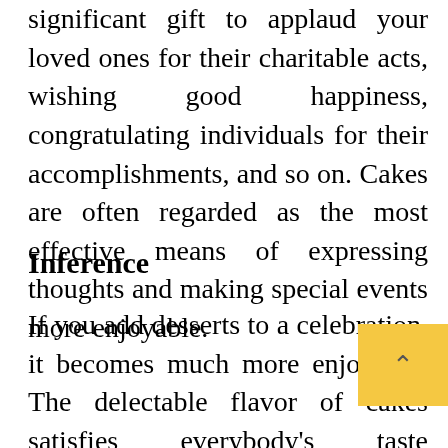significant gift to applaud your loved ones for their charitable acts, wishing good happiness, congratulating individuals for their accomplishments, and so on. Cakes are often regarded as the most effective means of expressing thoughts and making special events more enjoyable.
Inference
If you add desserts to a celebration, it becomes much more enjoyable. The delectable flavor of cakes satisfies everybody's taste senses and lifts their spirits. There are several more